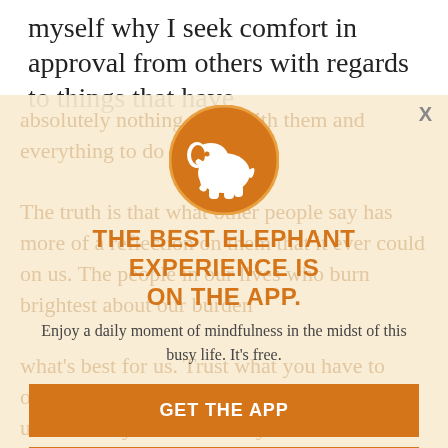myself why I seek comfort in approval from others with regards to things that have
[Figure (screenshot): App promotion modal overlay with elephant logo icon, headline, subtitle, and two call-to-action buttons on a light orange/cream background with faded article text behind it]
THE BEST ELEPHANT EXPERIENCE IS ON THE APP.
Enjoy a daily moment of mindfulness in the midst of this busy life. It's free.
GET THE APP
OPEN IN APP